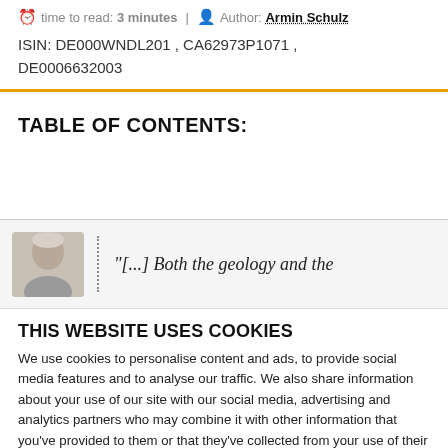time to read: 3 minutes | Author: Armin Schulz
ISIN: DE000WNDL201 , CA62973P1071 , DE0006632003
TABLE OF CONTENTS:
[Figure (photo): Photo of a person (partially visible) next to a dotted vertical line and a partial quote text: "[...] Both the geology and the]
THIS WEBSITE USES COOKIES
We use cookies to personalise content and ads, to provide social media features and to analyse our traffic. We also share information about your use of our site with our social media, advertising and analytics partners who may combine it with other information that you've provided to them or that they've collected from your use of their services.
Allow all cookies